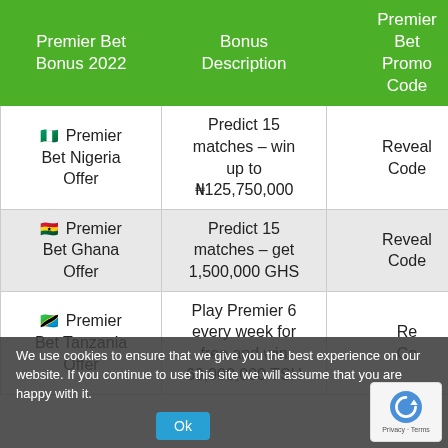| Premier Bet Bonus 2022 | Bonus Description | Premier Bet Promo Code |
| --- | --- | --- |
| 🇳🇬 Premier Bet Nigeria Offer | Predict 15 matches – win up to ₦125,750,000 | Reveal Code |
| 🇬🇭 Premier Bet Ghana Offer | Predict 15 matches – get 1,500,000 GHS | Reveal Code |
| 🇹🇿 Premier Bet Tanzania Offer | Play Premier 6 every week for free and win 60,000,000 TSH | Reveal Code |
We use cookies to ensure that we give you the best experience on our website. If you continue to use this site we will assume that you are happy with it.